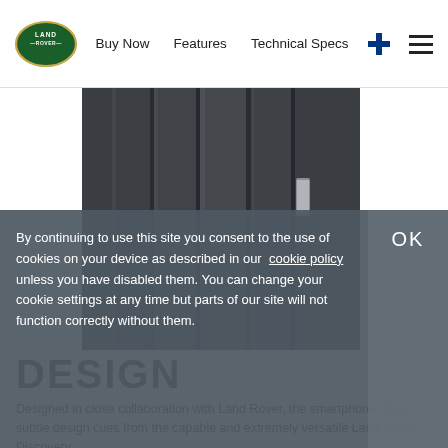Land Rover | Buy Now   Features   Technical Specs
[Figure (photo): Close-up photo of a dark gray/charcoal smartphone case showing vertical ridged design elements, Land Rover inspired design]
DESIGN
Designed in close collaboration with Land Rover, the smartphone takes subtle design cues from the capable and extremely versatile Land Rover Discovery.
Taking inspiration from the front grille design through to the
By continuing to use this site you consent to the use of cookies on your device as described in our cookie policy unless you have disabled them. You can change your cookie settings at any time but parts of our site will not function correctly without them.